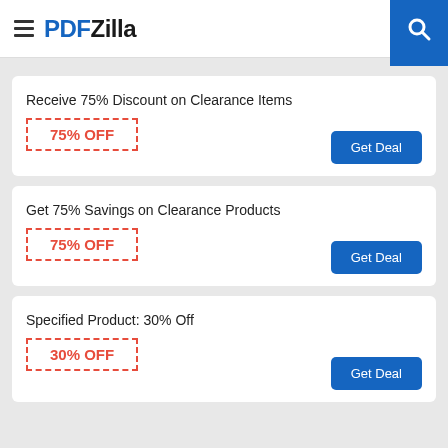PDFZilla
Receive 75% Discount on Clearance Items
75% OFF
Get Deal
Get 75% Savings on Clearance Products
75% OFF
Get Deal
Specified Product: 30% Off
30% OFF
Get Deal